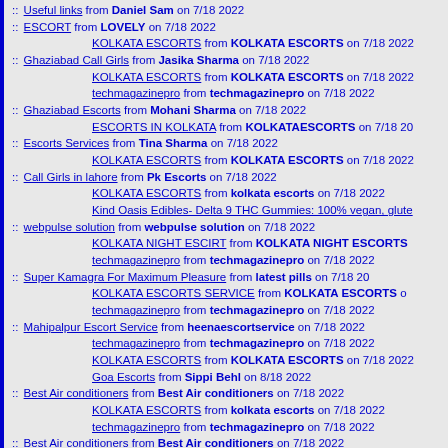:: Useful links from Daniel Sam on 7/18 2022
:: ESCORT from LOVELY on 7/18 2022
KOLKATA ESCORTS from KOLKATA ESCORTS on 7/18 2022
:: Ghaziabad Call Girls from Jasika Sharma on 7/18 2022
KOLKATA ESCORTS from KOLKATA ESCORTS on 7/18 2022
techmagazinepro from techmagazinepro on 7/18 2022
:: Ghaziabad Escorts from Mohani Sharma on 7/18 2022
ESCORTS IN KOLKATA from KOLKATAESCORTS on 7/18 20
:: Escorts Services from Tina Sharma on 7/18 2022
KOLKATA ESCORTS from KOLKATA ESCORTS on 7/18 2022
:: Call Girls in lahore from Pk Escorts on 7/18 2022
KOLKATA ESCORTS from kolkata escorts on 7/18 2022
Kind Oasis Edibles- Delta 9 THC Gummies: 100% vegan, glute
:: webpulse solution from webpulse solution on 7/18 2022
KOLKATA NIGHT ESCIRT from KOLKATA NIGHT ESCORTS
techmagazinepro from techmagazinepro on 7/18 2022
:: Super Kamagra For Maximum Pleasure from latest pills on 7/18 20
KOLKATA ESCORTS SERVICE from KOLKATA ESCORTS o
techmagazinepro from techmagazinepro on 7/18 2022
:: Mahipalpur Escort Service from heenaescortservice on 7/18 2022
techmagazinepro from techmagazinepro on 7/18 2022
KOLKATA ESCORTS from KOLKATA ESCORTS on 7/18 2022
Goa Escorts from Sippi Behl on 8/18 2022
:: Best Air conditioners from Best Air conditioners on 7/18 2022
KOLKATA ESCORTS from kolkata escorts on 7/18 2022
techmagazinepro from techmagazinepro on 7/18 2022
:: Best Air conditioners from Best Air conditioners on 7/18 2022
:: best online electronics store from best online electronics store o
KOLKATA ESCORTS SERVICE from KOLKATA ESCORTS SE
techmagazinepro from techmagazinepro on 7/18 2022